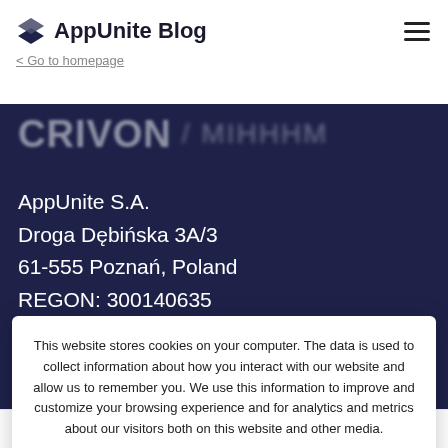AppUnite Blog < Go to homepage
CRITERION / ...
AppUnite S.A.
Droga Dębińska 3A/3
61-555 Poznań, Poland
REGON: 300140635
This website stores cookies on your computer. The data is used to collect information about how you interact with our website and allow us to remember you. We use this information to improve and customize your browsing experience and for analytics and metrics about our visitors both on this website and other media.
Cookie Policy  Privacy Notice
Agree
Team    Contact